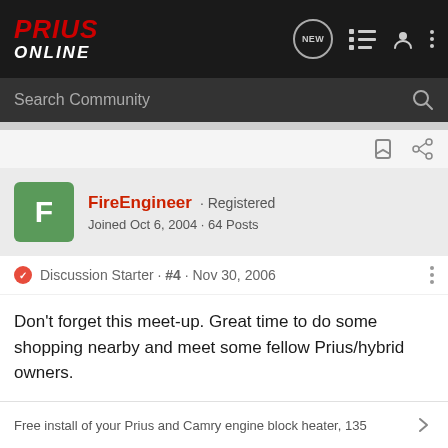Prius Online
Search Community
[Figure (screenshot): User avatar placeholder with letter F on green background]
FireEngineer · Registered
Joined Oct 6, 2004 · 64 Posts
Discussion Starter · #4 · Nov 30, 2006
Don't forget this meet-up. Great time to do some shopping nearby and meet some fellow Prius/hybrid owners.

Wayne
Free install of your Prius and Camry engine block heater, 135